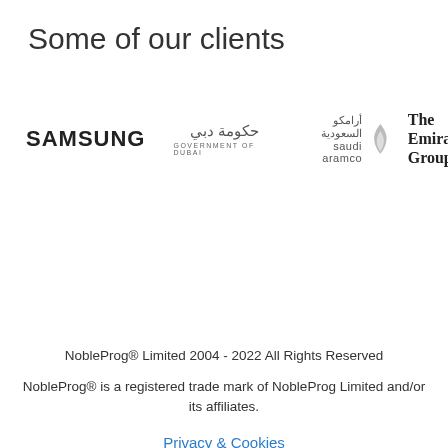Some of our clients
[Figure (logo): Client logos: Samsung, Government of Dubai, Saudi Aramco, The Emirates Group]
NobleProg® Limited 2004 - 2022 All Rights Reserved
NobleProg® is a registered trade mark of NobleProg Limited and/or its affiliates.
Privacy & Cookies
Staff login